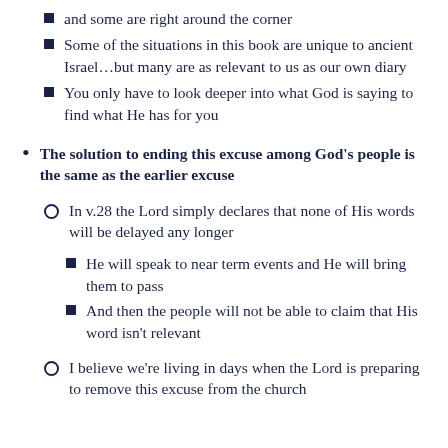and some are right around the corner
Some of the situations in this book are unique to ancient Israel...but many are as relevant to us as our own diary
You only have to look deeper into what God is saying to find what He has for you
The solution to ending this excuse among God's people is the same as the earlier excuse
In v.28 the Lord simply declares that none of His words will be delayed any longer
He will speak to near term events and He will bring them to pass
And then the people will not be able to claim that His word isn't relevant
I believe we're living in days when the Lord is preparing to remove this excuse from the church